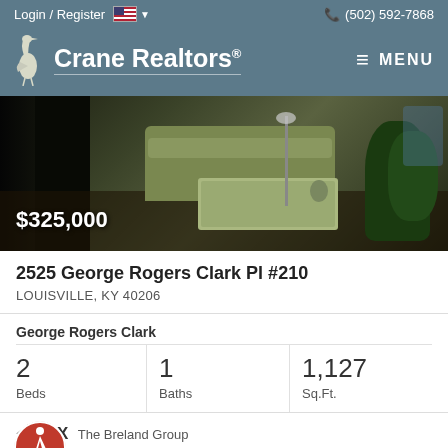Login / Register  (502) 592-7868
[Figure (logo): Crane Realtors logo with heron bird icon and MENU hamburger button]
[Figure (photo): Interior living room photo showing sofa, coffee table, and plants with $325,000 price overlay]
2525 George Rogers Clark Pl #210
LOUISVILLE, KY 40206
George Rogers Clark
2 Beds  1 Baths  1,127 Sq.Ft.
The Breland Group